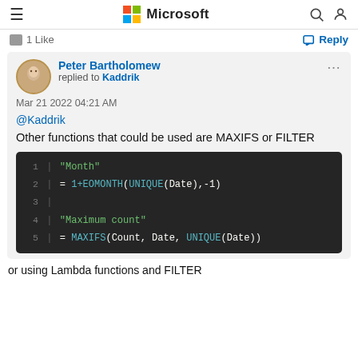Microsoft
1 Like   Reply
Peter Bartholomew replied to Kaddrik
Mar 21 2022 04:21 AM
@Kaddrik
Other functions that could be used are MAXIFS or FILTER
[Figure (screenshot): Code block showing Excel formula lines: 1 "Month" 2 = 1+EOMONTH(UNIQUE(Date),-1) 3 4 "Maximum count" 5 = MAXIFS(Count, Date, UNIQUE(Date))]
or using Lambda functions and FILTER